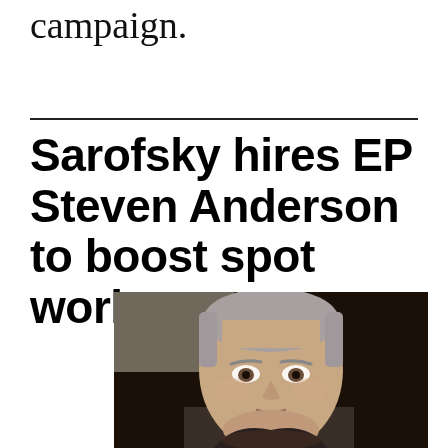campaign.
Sarofsky hires EP Steven Anderson to boost spot work
[Figure (photo): Headshot portrait of Steven Anderson, a middle-aged man with short grey hair, looking directly at the camera against a dark background.]